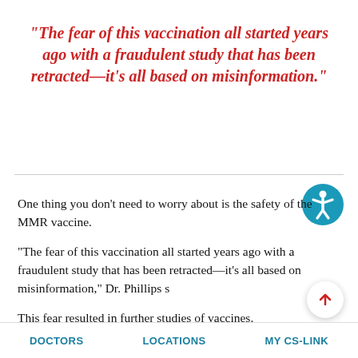"The fear of this vaccination all started years ago with a fraudulent study that has been retracted—it's all based on misinformation."
[Figure (illustration): Accessibility icon: a teal circle with a white stick figure person with arms outstretched]
One thing you don't need to worry about is the safety of the MMR vaccine.
“The fear of this vaccination all started years ago with a fraudulent study that has been retracted—it’s all based on misinformation,” Dr. Phillips s
This fear resulted in further studies of vaccines.
DOCTORS    LOCATIONS    MY CS-LINK